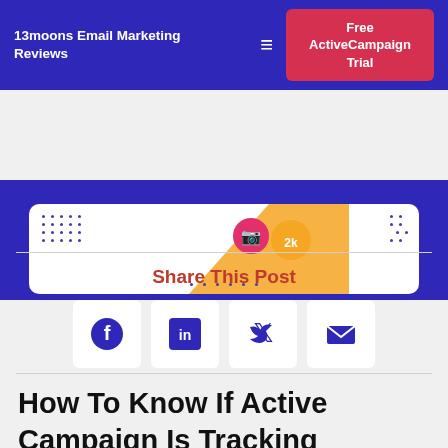13moons Email Marketing Reviews | Free ActiveCampaign Trial
[Figure (screenshot): Screenshot panel showing a partial UI with dot grid decorations and social media icons on a blue background]
Share This Post
[Figure (infographic): Social sharing buttons: Facebook, LinkedIn, Twitter, Email]
How To Know If Active Campaign Is Tracking Website